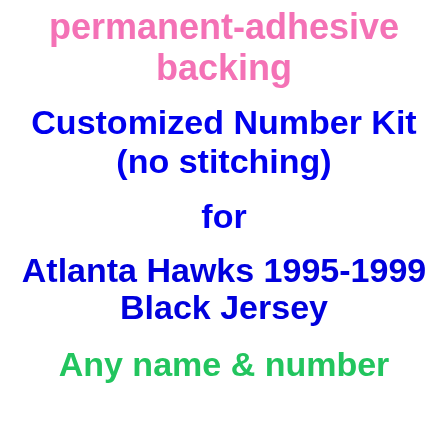permanent-adhesive backing
Customized Number Kit (no stitching)
for
Atlanta Hawks 1995-1999 Black Jersey
Any name & number